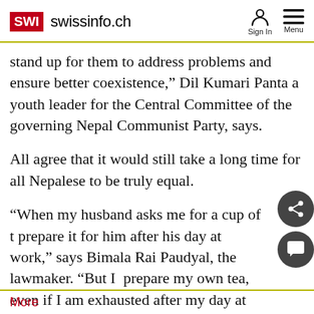SWI swissinfo.ch
stand up for them to address problems and ensure better coexistence,” Dil Kumari Panta a youth leader for the Central Committee of the governing Nepal Communist Party, says.
All agree that it would still take a long time for all Nepalese to be truly equal.
“When my husband asks me for a cup of t… prepare it for him after his day at work,” says Bimala Rai Paudyal, the lawmaker. “But I … prepare my own tea, even if I am exhausted after my day at work.”
More